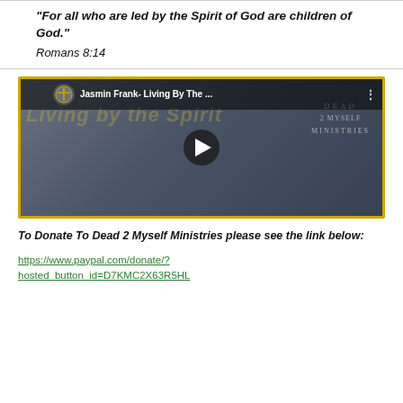“For all who are led by the Spirit of God are children of God.” Romans 8:14
[Figure (screenshot): YouTube video thumbnail for 'Jasmin Frank- Living By The...' by Dead 2 Myself Ministries, showing a woman singing at a microphone with a golden 'Living by the Spirit' watermark overlay and a play button in the center.]
To Donate To Dead 2 Myself Ministries please see the link below:
https://www.paypal.com/donate/?hosted_button_id=D7KMC2X63R5HL